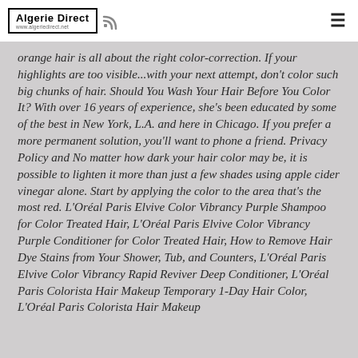Algerie Direct
orange hair is all about the right color-correction. If your highlights are too visible...with your next attempt, don't color such big chunks of hair. Should You Wash Your Hair Before You Color It? With over 16 years of experience, she's been educated by some of the best in New York, L.A. and here in Chicago. If you prefer a more permanent solution, you'll want to phone a friend. Privacy Policy and No matter how dark your hair color may be, it is possible to lighten it more than just a few shades using apple cider vinegar alone. Start by applying the color to the area that's the most red. L'Oréal Paris Elvive Color Vibrancy Purple Shampoo for Color Treated Hair, L'Oréal Paris Elvive Color Vibrancy Purple Conditioner for Color Treated Hair, How to Remove Hair Dye Stains from Your Shower, Tub, and Counters, L'Oréal Paris Elvive Color Vibrancy Rapid Reviver Deep Conditioner, L'Oréal Paris Colorista Hair Makeup Temporary 1-Day Hair Color, L'Oréal Paris Colorista Hair Makeup Temporary 1-Day Hair Color Spray, As a condition...